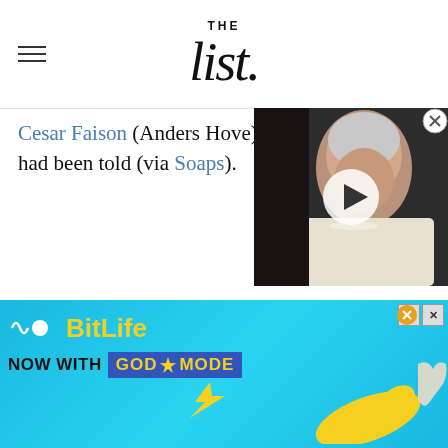THE list
Cesar Faison (Anders Hove), had been told (via Soaps).
[Figure (photo): Video thumbnail showing an elderly woman (Queen Elizabeth II) with white hair and pearl necklace, with a play button overlay, against a dark background.]
[Figure (other): BitLife advertisement banner: 'BitLife NOW WITH GOD MODE' on a blue background with illustrated hands and game icons.]